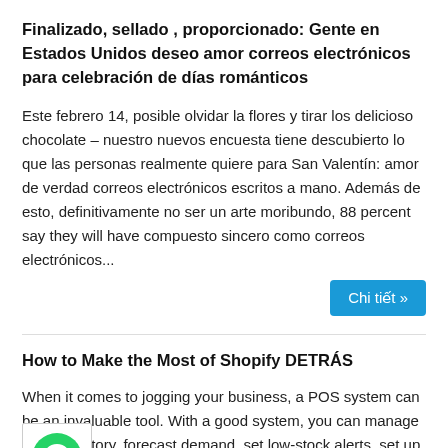Finalizado, sellado , proporcionado: Gente en Estados Unidos deseo amor correos electrónicos para celebración de días románticos
Este febrero 14, posible olvidar la flores y tirar los delicioso chocolate – nuestro nuevos encuesta tiene descubierto lo que las personas realmente quiere para San Valentín: amor de verdad correos electrónicos escritos a mano. Además de esto, definitivamente no ser un arte moribundo, 88 percent say they will have compuesto sincero como correos electrónicos...
Chi tiết »
How to Make the Most of Shopify DETRÁS
When it comes to jogging your business, a POS system can be an invaluable tool. With a good system, you can manage your inventory, forecast demand, set low-stock alerts, set up purchase instructions, and track your revenue. These features can help you boost foot traffic and increase your the important point. Here are some popular...
Chi tiết »